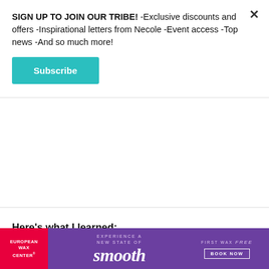SIGN UP TO JOIN OUR TRIBE! -Exclusive discounts and offers -Inspirational letters from Necole -Event access -Top news -And so much more!
Subscribe
Here's what I learned:
xoNecole: Talk to me about 'Virgo Tendencies', what the inspiration was behind it and how it felt to finally get it out.
[Figure (infographic): European Wax Center advertisement banner with purple background, red left panel, text 'Experience a New State of smooth' and 'First Wax free BOOK NOW']